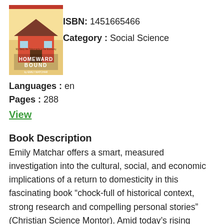[Figure (illustration): Book cover of 'Homeward Bound' showing illustrated house and figures in colorful style, by Emily Matchar]
ISBN: 1451665466
Category: Social Science
Languages: en
Pages: 288
View
Book Description
Emily Matchar offers a smart, measured investigation into the cultural, social, and economic implications of a return to domesticity in this fascinating book “chock-full of historical context, strong research and compelling personal stories” (Christian Science Montor). Amid today’s rising anxieties—the economy, the scary state of the environment, the growing sense that the American Dream hasn’t turned out to be so dreamy after all